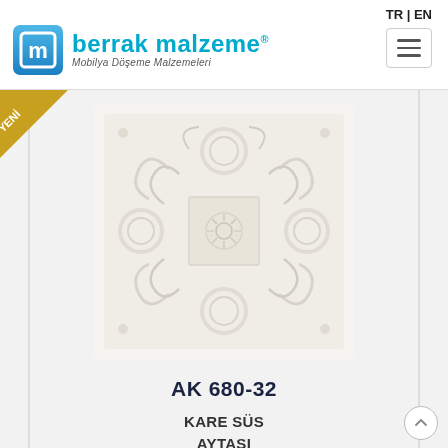TR | EN
[Figure (logo): Berrak Malzeme logo with stylized 'm' icon and tagline 'Mobilya Döşeme Malzemeleri']
[Figure (photo): White ornate square decorative furniture applique/medallion with floral and scroll motifs, product AK 680-32]
AK 680-32
KARE SÜS
AYTASI